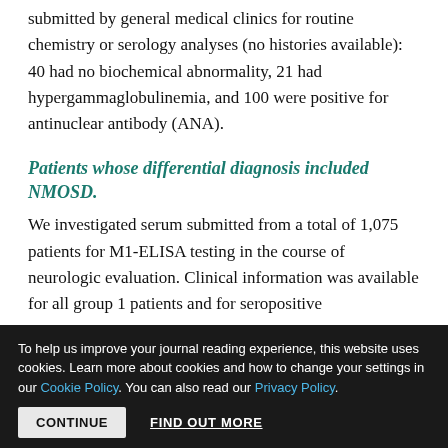submitted by general medical clinics for routine chemistry or serology analyses (no histories available): 40 had no biochemical abnormality, 21 had hypergammaglobulinemia, and 100 were positive for antinuclear antibody (ANA).
Patients whose differential diagnosis included NMOSD.
We investigated serum submitted from a total of 1,075 patients for M1-ELISA testing in the course of neurologic evaluation. Clinical information was available for all group 1 patients and for seropositive
To help us improve your journal reading experience, this website uses cookies. Learn more about cookies and how to change your settings in our Cookie Policy. You can also read our Privacy Policy.